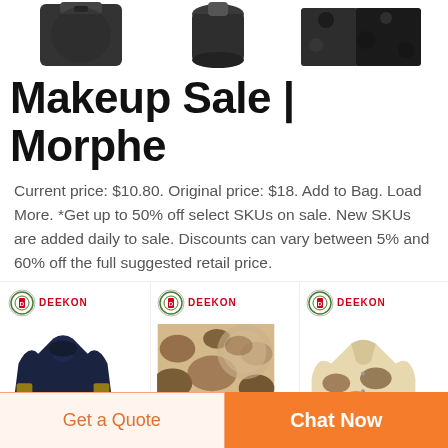[Figure (photo): Three product thumbnails at top: a dark bag/backpack on left, a dark cylindrical item in center, and dark camouflage jackets on right]
Makeup Sale | Morphe
Current price: $10.80. Original price: $18. Add to Bag. Load More. *Get up to 50% off select SKUs on sale. New SKUs are added daily to sale. Discounts can vary between 5% and 60% off the full suggested retail price.
[Figure (photo): DEEKON branded dark navy military sweater/pullover]
[Figure (photo): DEEKON branded desert camouflage fabric/material close-up]
[Figure (photo): DEEKON branded desert camouflage military jacket/shirt]